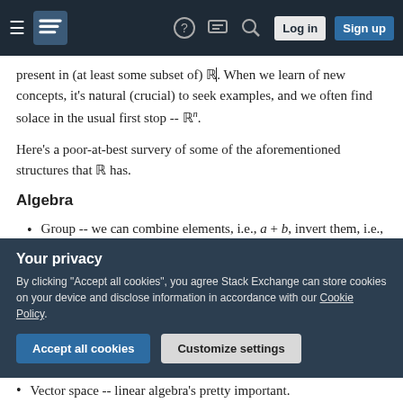Stack Exchange navigation bar with hamburger menu, logo, help, chat, search, Log in, Sign up
present in (at least some subset of) ℝ. When we learn of new concepts, it's natural (crucial) to seek examples, and we often find solace in the usual first stop -- ℝⁿ.
Here's a poor-at-best survery of some of the aforementioned structures that ℝ has.
Algebra
Group -- we can combine elements, i.e., a + b, invert them, i.e., a⁻¹.
Field -- we get more ways to combine elements
Your privacy — By clicking "Accept all cookies", you agree Stack Exchange can store cookies on your device and disclose information in accordance with our Cookie Policy.
Vector space -- linear algebra's pretty important.